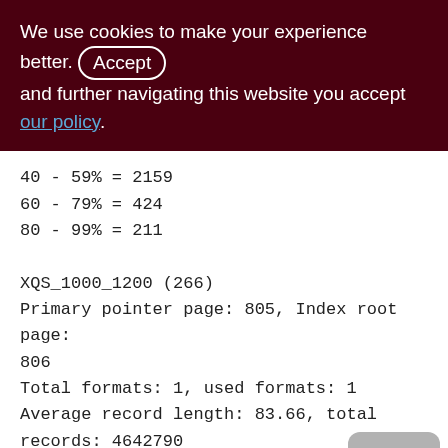We use cookies to make your experience better. By accepting and further navigating this website you accept our policy.
40 - 59% = 2159
60 - 79% = 424
80 - 99% = 211

XQS_1000_1200 (266)
Primary pointer page: 805, Index root page: 806
Total formats: 1, used formats: 1
Average record length: 83.66, total records: 4642790
Average version length: 84.06, total versions: 397, max versions: 1